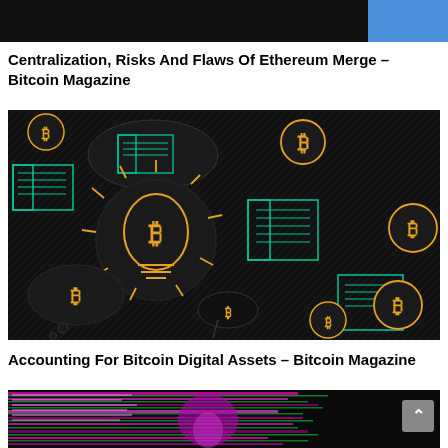[Figure (screenshot): Top banner/header screenshot — dark background with blue element on the right]
Centralization, Risks And Flaws Of Ethereum Merge – Bitcoin Magazine
[Figure (illustration): Dark background illustration with orange Bitcoin symbols inside speech bubbles and a glowing light bulb with Bitcoin symbol, and teal/green circuit-board style rectangular graphics]
Accounting For Bitcoin Digital Assets – Bitcoin Magazine
[Figure (screenshot): Screenshot thumbnail with glitchy magenta and green visual effects showing a figure on a dark background with colorful horizontal lines]